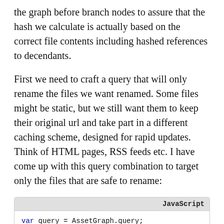the graph before branch nodes to assure that the hash we calculate is actually based on the correct file contents including hashed references to decendants.
First we need to craft a query that will only rename the files we want renamed. Some files might be static, but we still want them to keep their original url and take part in a different caching scheme, designed for rapid updates. Think of HTML pages, RSS feeds etc. I have come up with this query combination to target only the files that are safe to rename:
[Figure (screenshot): JavaScript code block showing: var query = AssetGraph.query; var moveQuery = query.and( // Find all loaded an non-inlined assets // Except ones of the defined types and fileNames { isLoaded: true, isInline: false,]